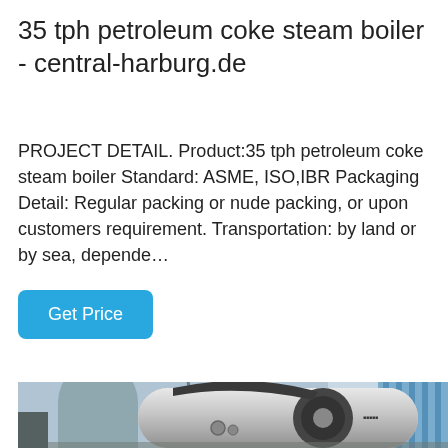35 tph petroleum coke steam boiler - central-harburg.de
PROJECT DETAIL. Product:35 tph petroleum coke steam boiler Standard: ASME, ISO,IBR Packaging Detail: Regular packing or nude packing, or upon customers requirement. Transportation: by land or by sea, depende…
Get Price
[Figure (photo): Large industrial steam boiler unit shown outdoors at a facility. The boiler is a large horizontal cylindrical vessel with a rounded front end, silver/metallic exterior, mounted on supports. Industrial buildings and structures visible in background.]